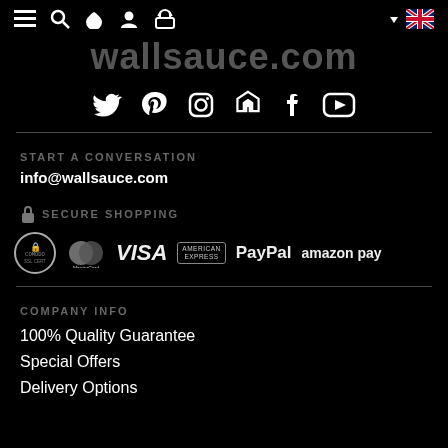wallsauce.com navigation bar with menu, search, wishlist, account, cart icons and UK flag
wallsauce.com
[Figure (illustration): Social media icons row: Twitter, Pinterest, Instagram, Houzz, Facebook, YouTube]
START A CONVERSATION
info@wallsauce.com
SECURE SHOPPING
[Figure (illustration): Payment logos: Comodo SSL, Mastercard, VISA, American Express, PayPal, Amazon Pay]
COMPANY INFO
100% Quality Guarantee
Special Offers
Delivery Options